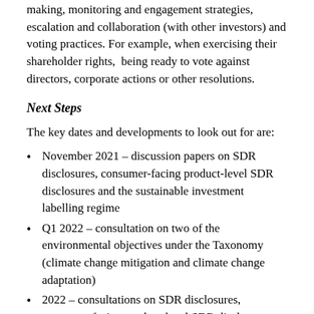making, monitoring and engagement strategies, escalation and collaboration (with other investors) and voting practices. For example, when exercising their shareholder rights,  being ready to vote against directors, corporate actions or other resolutions.
Next Steps
The key dates and developments to look out for are:
November 2021 – discussion papers on SDR disclosures, consumer-facing product-level SDR disclosures and the sustainable investment labelling regime
Q1 2022 – consultation on two of the environmental objectives under the Taxonomy (climate change mitigation and climate change adaptation)
2022 – consultations on SDR disclosures, consumer-facing product-level SDR disclosures and the sustainable investment labelling regime